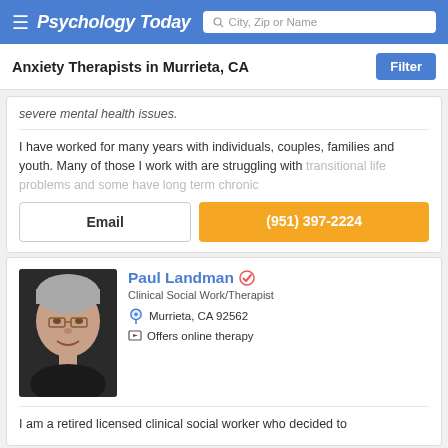Psychology Today — City, Zip or Name search bar
Anxiety Therapists in Murrieta, CA
severe mental health issues.
I have worked for many years with individuals, couples, families and youth. Many of those I work with are struggling with transitional life problems and some have long term chronic
Email | (951) 397-2224
Paul Landman — Clinical Social Work/Therapist — Murrieta, CA 92562 — Offers online therapy
I am a retired licensed clinical social worker who decided to